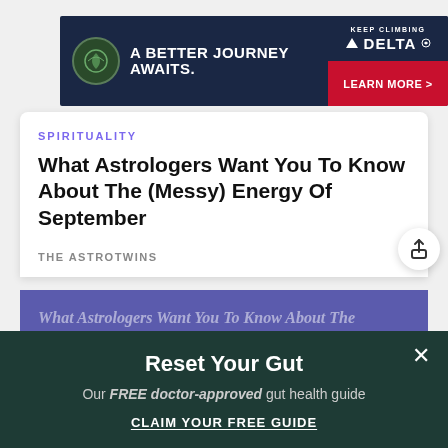[Figure (screenshot): Delta Airlines advertisement banner: dark navy background with leaf logo circle, text 'A BETTER JOURNEY AWAITS.' and Delta logo with 'KEEP CLIMBING' and 'LEARN MORE >' button in red]
SPIRITUALITY
What Astrologers Want You To Know About The (Messy) Energy Of September
THE ASTROTWINS
[Figure (illustration): Purple/indigo banner image showing italic text 'What Astrologers Want You To Know About The (Messy) Energy Of September' overlaid on purple background]
Reset Your Gut
Our FREE doctor-approved gut health guide
CLAIM YOUR FREE GUIDE